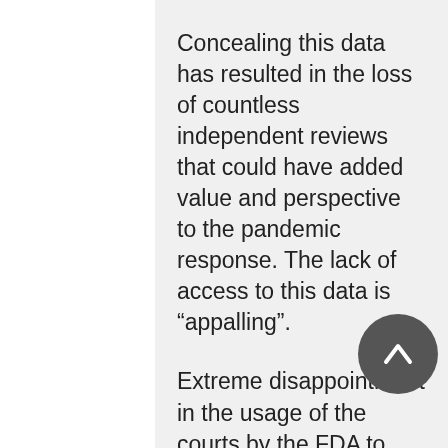Concealing this data has resulted in the loss of countless independent reviews that could have added value and perspective to the pandemic response. The lack of access to this data is “appalling”.
Extreme disappointment in the usage of the courts by the FDA to attempt to conceal the data for 75 years.
Request that the FDA publicly produce all data that they receive related to the Covid-19 products within 14 days of receiving it.
Vaccine mandates should not have been allowed while the products were